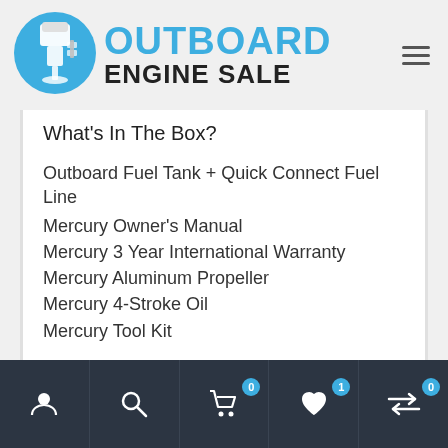[Figure (logo): Outboard Engine Sale logo with blue circle containing outboard motor icon and text OUTBOARD ENGINE SALE]
What’s In The Box?
Outboard Fuel Tank + Quick Connect Fuel Line
Mercury Owner’s Manual
Mercury 3 Year International Warranty
Mercury Aluminum Propeller
Mercury 4-Stroke Oil
Mercury Tool Kit
Navigation bar with user, search, cart (0), wishlist (1), compare (0) icons